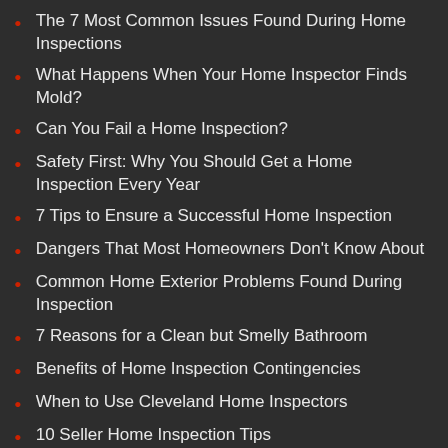The 7 Most Common Issues Found During Home Inspections
What Happens When Your Home Inspector Finds Mold?
Can You Fail a Home Inspection?
Safety First: Why You Should Get a Home Inspection Every Year
7 Tips to Ensure a Successful Home Inspection
Dangers That Most Homeowners Don't Know About
Common Home Exterior Problems Found During Inspection
7 Reasons for a Clean but Smelly Bathroom
Benefits of Home Inspection Contingencies
When to Use Cleveland Home Inspectors
10 Seller Home Inspection Tips
10 Common Wood Burning Fireplace Problems